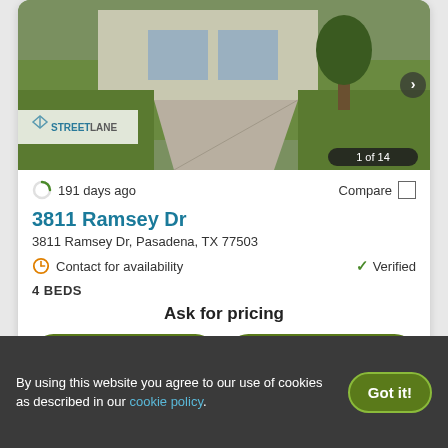[Figure (photo): Exterior photo of a house with green lawn and concrete driveway. StreetLane watermark visible. Counter shows 1 of 14.]
191 days ago
Compare
3811 Ramsey Dr
3811 Ramsey Dr, Pasadena, TX 77503
Contact for availability
Verified
4 BEDS
Ask for pricing
View Details
Contact Property
By using this website you agree to our use of cookies as described in our cookie policy.
Got it!